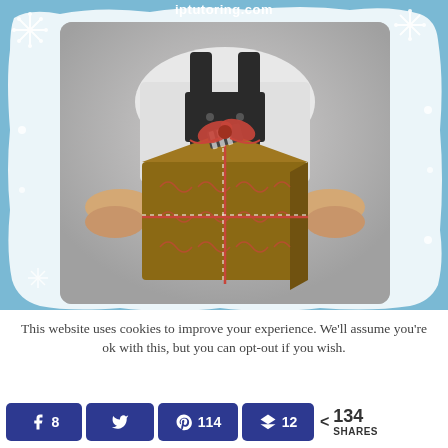iptutoring.com
[Figure (photo): Person in black overalls and white long-sleeve shirt holding out a brown kraft paper wrapped Christmas gift box decorated with candy cane patterns and tied with red and white striped string/twine, with a striped ribbon bow on top. Light blue winter/Christmas themed background with white snowflake decorations and brushstroke border.]
This website uses cookies to improve your experience. We'll assume you're ok with this, but you can opt-out if you wish.
8  114  12  < 134 SHARES